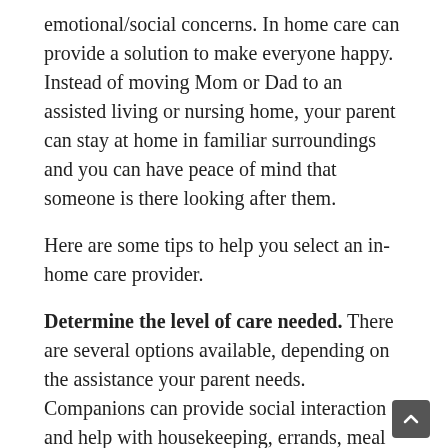emotional/social concerns. In home care can provide a solution to make everyone happy. Instead of moving Mom or Dad to an assisted living or nursing home, your parent can stay at home in familiar surroundings and you can have peace of mind that someone is there looking after them.
Here are some tips to help you select an in-home care provider.
Determine the level of care needed. There are several options available, depending on the assistance your parent needs. Companions can provide social interaction and help with housekeeping, errands, meal preparation and medication supervision. Personal care aides provide hands-on assistance with personal hygiene, dressing and moving to different rooms. Licensed or registered nurses can provide skilled medical care. In-home care is available to even those with advanced needs.